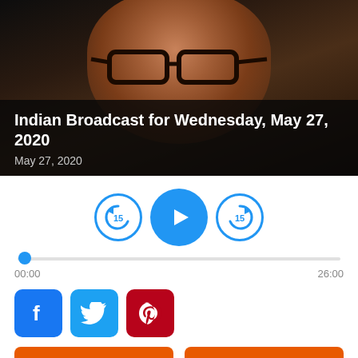[Figure (photo): Close-up photo of an older man wearing glasses, with dark background, shown from forehead to chin]
Indian Broadcast for Wednesday, May 27, 2020
May 27, 2020
[Figure (other): Audio player controls with rewind 15, play button, and forward 15 buttons, plus a progress bar showing 00:00 to 26:00]
[Figure (other): Social media share buttons: Facebook, Twitter, Pinterest]
PODCAST
FREE MP3